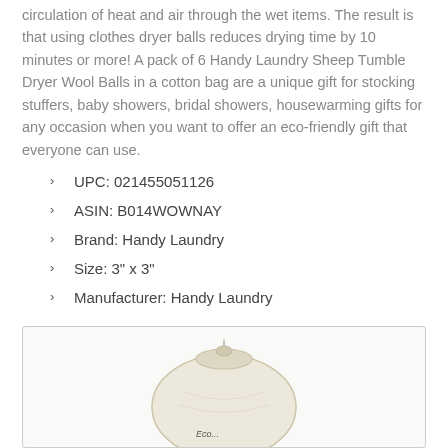circulation of heat and air through the wet items. The result is that using clothes dryer balls reduces drying time by 10 minutes or more! A pack of 6 Handy Laundry Sheep Tumble Dryer Wool Balls in a cotton bag are a unique gift for stocking stuffers, baby showers, bridal showers, housewarming gifts for any occasion when you want to offer an eco-friendly gift that everyone can use.
UPC: 021455051126
ASIN: B014WOWNAY
Brand: Handy Laundry
Size: 3" x 3"
Manufacturer: Handy Laundry
[Figure (photo): A cream/natural colored cotton drawstring bag with text on it, partially visible, on a white background inside a bordered box.]